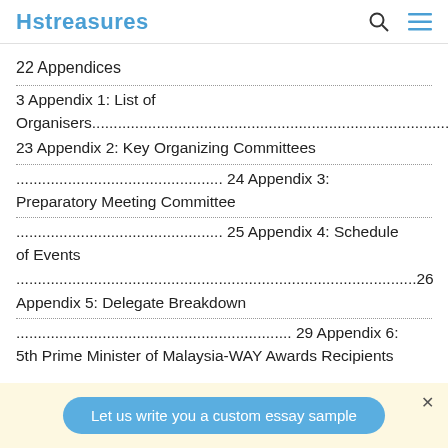Hstreasures
22 Appendices
3 Appendix 1: List of Organisers........................................................................
23 Appendix 2: Key Organizing Committees
24 Appendix 3: Preparatory Meeting Committee
25 Appendix 4: Schedule of Events ....................................................... 26
Appendix 5: Delegate Breakdown
29 Appendix 6: 5th Prime Minister of Malaysia-WAY Awards Recipients
Let us write you a custom essay sample